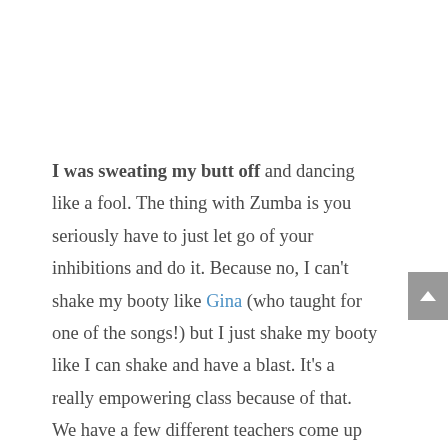I was sweating my butt off and dancing like a fool. The thing with Zumba is you seriously have to just let go of your inhibitions and do it. Because no, I can't shake my booty like Gina (who taught for one of the songs!) but I just shake my booty like I can shake and have a blast. It's a really empowering class because of that. We have a few different teachers come up for different songs – each one with their own style and all completely awesome!